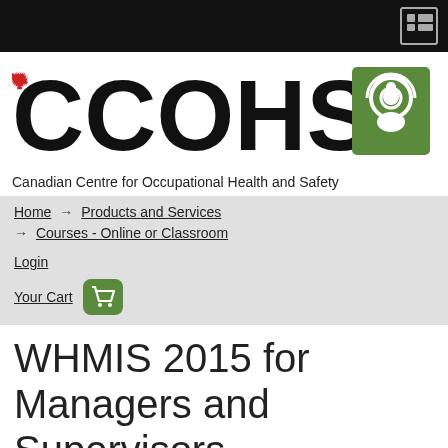[Figure (logo): CCOHS logo with maple leaf and green circular icon, text reading 'CCOHS' in large bold letters, and 'Canadian Centre for Occupational Health and Safety' below]
Home → Products and Services → Courses - Online or Classroom
Login
Your Cart
WHMIS 2015 for Managers and Supervisors